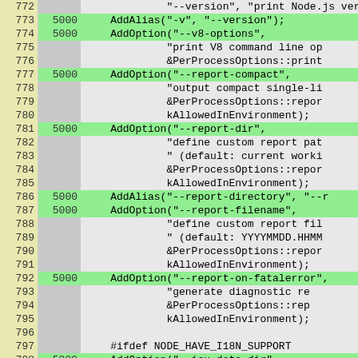[Figure (screenshot): Code coverage view of source file showing line numbers (772-798), coverage counts, and source code. Green-highlighted rows have coverage count 5000. Gray rows have no coverage count. Yellow column on left for line numbers.]